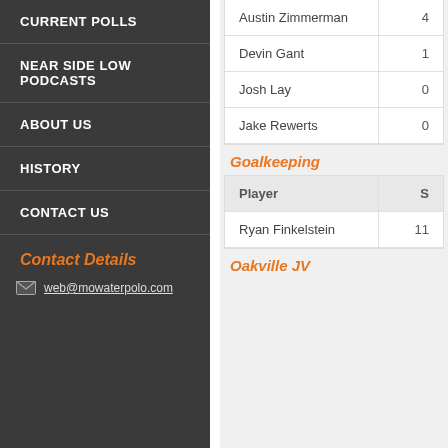CURRENT POLLS
NEAR SIDE LOW PODCASTS
ABOUT US
HISTORY
CONTACT US
Contact Details
web@mowaterpolo.com
| Player | S |
| --- | --- |
| Austin Zimmerman | 4 |
| Devin Gant | 1 |
| Josh Lay | 0 |
| Jake Rewerts | 0 |
Goalkeeping
| Player | S |
| --- | --- |
| Ryan Finkelstein | 11 |
Oakville JV